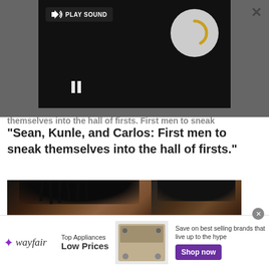[Figure (screenshot): Video player with dark background showing loading spinner and play sound button. Pause icon visible at bottom left of video. X close button at top right of page. Expand/resize icon at bottom right of video area.]
themselves into the hall of firsts. First men to sneak
"Sean, Kunle, and Carlos: First men to sneak themselves into the hall of firsts."
[Figure (photo): Close-up movie still showing two Black men, one in foreground with dreadlocks looking intensely at camera, one partially visible in background.]
[Figure (other): Wayfair advertisement banner. Logo on left, text 'Top Appliances Low Prices', image of stove/oven appliance in center, right side says 'Save on best selling brands that live up to the hype' with purple 'Shop now' button.]